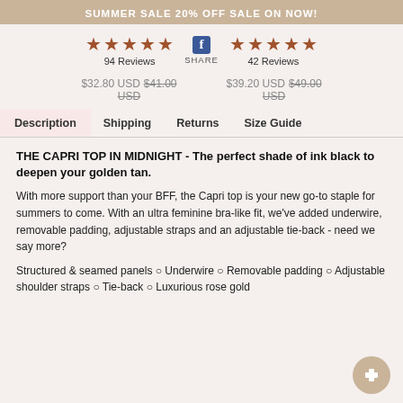SUMMER SALE 20% OFF SALE ON NOW!
94 Reviews | 42 Reviews | SHARE
$32.80 USD $41.00 USD | $39.20 USD $49.00 USD
Description | Shipping | Returns | Size Guide
THE CAPRI TOP IN MIDNIGHT - The perfect shade of ink black to deepen your golden tan.
With more support than your BFF, the Capri top is your new go-to staple for summers to come. With an ultra feminine bra-like fit, we've added underwire, removable padding, adjustable straps and an adjustable tie-back - need we say more?
Structured & seamed panels ○ Underwire ○ Removable padding ○ Adjustable shoulder straps ○ Tie-back ○ Luxurious rose gold hardware ○ Fully lined ○ Ribbed fabric